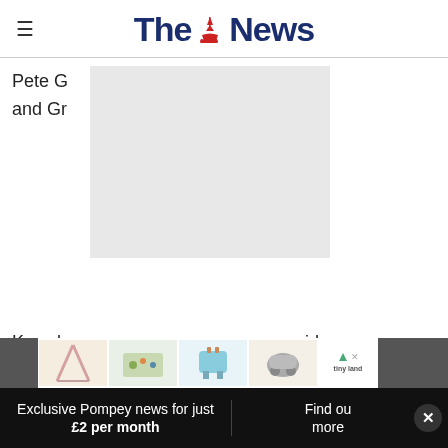The News
Pete G… Fetcu and Gr…
Knowl… side Cowpl… o of Alan B… ow. Chris Corner was edged out in five sets by Baldwin.
[Figure (photo): Gray overlay block covering part of article text, and advertisement strip with toy product images (Tiny Land brand)]
Lead… 3 in
Exclusive Pompey news for just £2 per month | Find out more